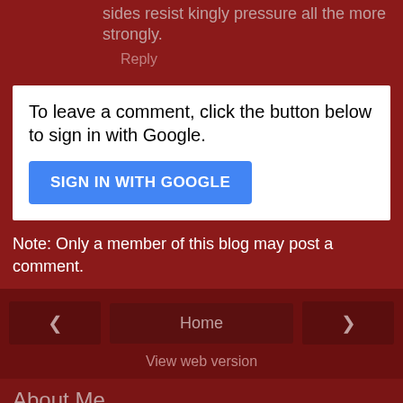sides resist kingly pressure all the more strongly.
Reply
To leave a comment, click the button below to sign in with Google.
SIGN IN WITH GOOGLE
Note: Only a member of this blog may post a comment.
‹
Home
›
View web version
About Me
Justin Gengler
I study political behavior and group conflict in the Arab Gulf region using mass survey data. I received my Ph.D. in Political Science from the University of Michigan in 2011, after which I joined the